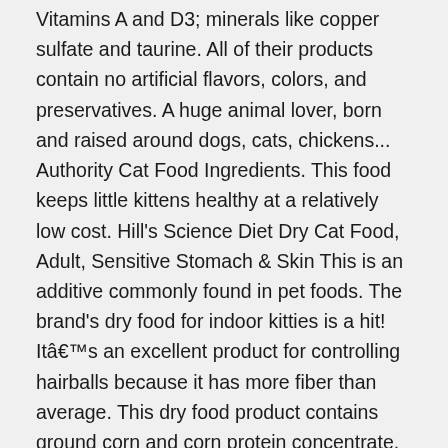Vitamins A and D3; minerals like copper sulfate and taurine. All of their products contain no artificial flavors, colors, and preservatives. A huge animal lover, born and raised around dogs, cats, chickens... Authority Cat Food Ingredients. This food keeps little kittens healthy at a relatively low cost. Hill's Science Diet Dry Cat Food, Adult, Sensitive Stomach & Skin This is an additive commonly found in pet foods. The brand's dry food for indoor kitties is a hit! Itâs an excellent product for controlling hairballs because it has more fiber than average. This dry food product contains ground corn and corn protein concentrate. Some experts claim that this additive may contribute to certain medical issues in cats. Both wet and dry cat food products have received numerous good reviews from cat parents. The kibbles' crunchy texture is designed to reduce plaque and tartar build up. Soft, silky coats. Prime members enjoy FREE Delivery and exclusive access to music, movies,